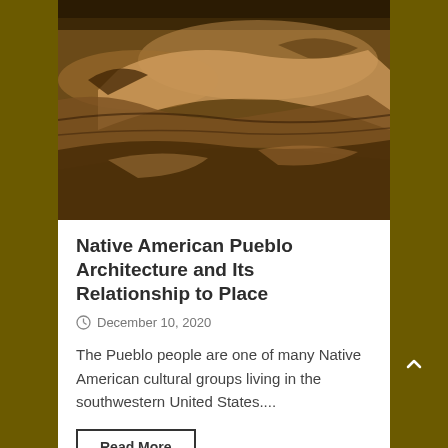[Figure (photo): Aerial or overhead view of Pueblo/desert landscape, sandy brown and dark earth tones, showing canyon or mesa terrain from above.]
Native American Pueblo Architecture and Its Relationship to Place
December 10, 2020
The Pueblo people are one of many Native American cultural groups living in the southwestern United States....
Read More